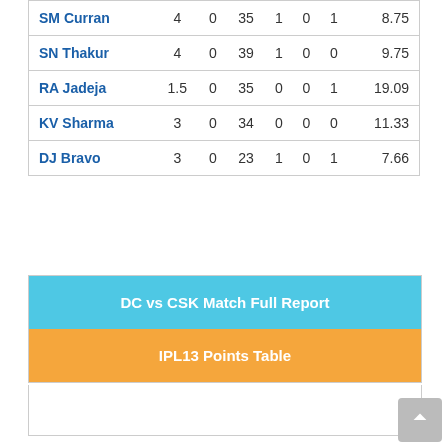| SM Curran | 4 | 0 | 35 | 1 | 0 | 1 | 8.75 |
| SN Thakur | 4 | 0 | 39 | 1 | 0 | 0 | 9.75 |
| RA Jadeja | 1.5 | 0 | 35 | 0 | 0 | 1 | 19.09 |
| KV Sharma | 3 | 0 | 34 | 0 | 0 | 0 | 11.33 |
| DJ Bravo | 3 | 0 | 23 | 1 | 0 | 1 | 7.66 |
DC vs CSK Match Full Report
IPL13 Points Table